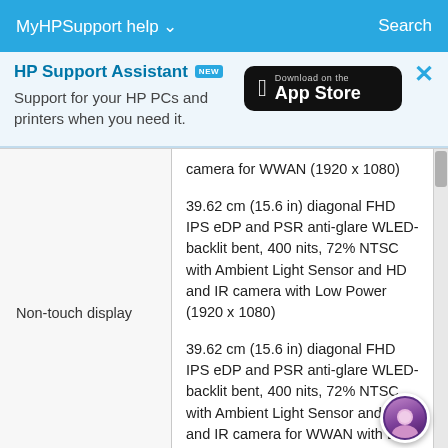MyHPSupport help   Search
[Figure (screenshot): HP Support Assistant banner with NEW badge, tagline 'Support for your HP PCs and printers when you need it.' and Download on the App Store button, plus close X button]
|  |  |
| --- | --- |
| Non-touch display | camera for WWAN (1920 x 1080)

39.62 cm (15.6 in) diagonal FHD IPS eDP and PSR anti-glare WLED-backlit bent, 400 nits, 72% NTSC with Ambient Light Sensor and HD and IR camera with Low Power (1920 x 1080)

39.62 cm (15.6 in) diagonal FHD IPS eDP and PSR anti-glare WLED-backlit bent, 400 nits, 72% NTSC with Ambient Light Sensor and HD and IR camera for WWAN with Low Power (1920 x 1080) |